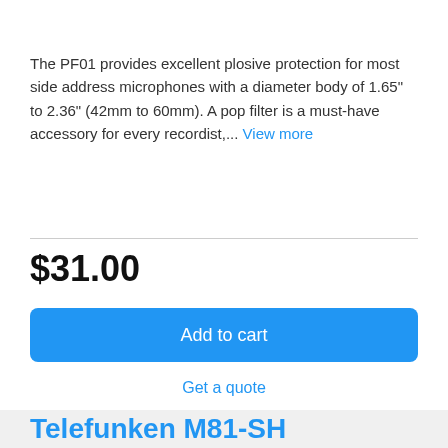The PF01 provides excellent plosive protection for most side address microphones with a diameter body of 1.65" to 2.36" (42mm to 60mm). A pop filter is a must-have accessory for every recordist,... View more
$31.00
Add to cart
Get a quote
Telefunken M81-SH